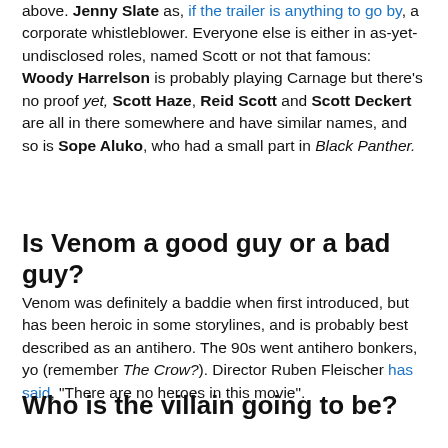above. Jenny Slate as, if the trailer is anything to go by, a corporate whistleblower. Everyone else is either in as-yet-undisclosed roles, named Scott or not that famous: Woody Harrelson is probably playing Carnage but there's no proof yet, Scott Haze, Reid Scott and Scott Deckert are all in there somewhere and have similar names, and so is Sope Aluko, who had a small part in Black Panther.
Is Venom a good guy or a bad guy?
Venom was definitely a baddie when first introduced, but has been heroic in some storylines, and is probably best described as an antihero. The 90s went antihero bonkers, yo (remember The Crow?). Director Ruben Fleischer has said, "There are no heroes in this movie".
Who is the villain going to be?